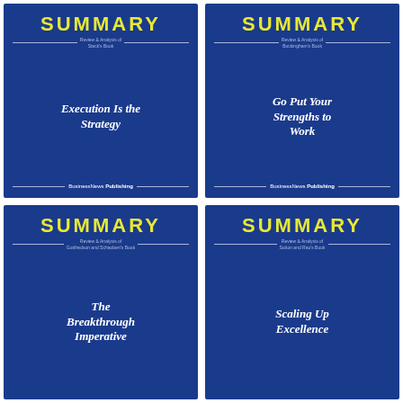[Figure (illustration): Book cover: SUMMARY - Review & Analysis of Stack's Book - Execution Is the Strategy - BusinessNews Publishing]
[Figure (illustration): Book cover: SUMMARY - Review & Analysis of Buckingham's Book - Go Put Your Strengths to Work - BusinessNews Publishing]
[Figure (illustration): Book cover: SUMMARY - Review & Analysis of Gottfredson and Schaubert's Book - The Breakthrough Imperative - BusinessNews Publishing]
[Figure (illustration): Book cover: SUMMARY - Review & Analysis of Sutton and Rao's Book - Scaling Up Excellence - BusinessNews Publishing]